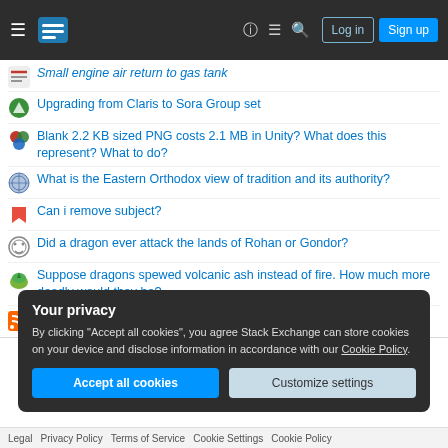Stack Exchange navigation header with Log in and Sign up buttons
Small engine air return to gas tank
Upgrading from Claris to Sora Group set
Blank 2.2 KB sized PNG costs 2.1 MB in Unity? What does this represent? What to do?
What is the Eastern Orthodox view of tradition and its authority?
Can i remove subject?
Did a dragon ever attack the lands of Rohan or Gondor?
Suppose dragons spewed volcanic ash instead of fire. How much more deadly would they be?
Newest skype questions feed
Your privacy
By clicking "Accept all cookies", you agree Stack Exchange can store cookies on your device and disclose information in accordance with our Cookie Policy.
Legal  Privacy Policy  Terms of Service  Cookie Settings  Cookie Policy